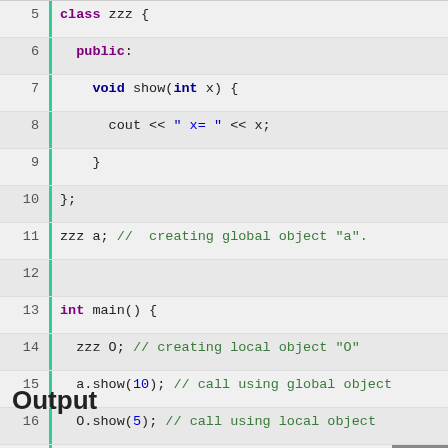[Figure (screenshot): C++ code block showing class zzz with public show method and main function, lines 5-17]
Output